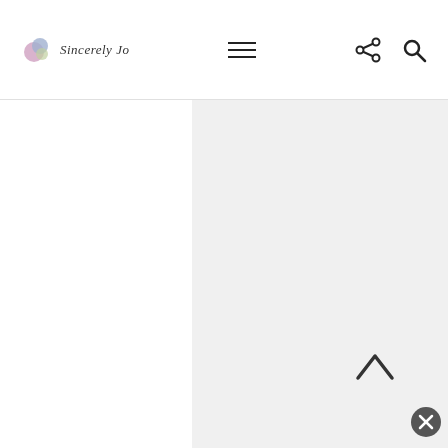Sincerely [logo] | navigation bar with hamburger menu, share, and search icons
en
To
wi
wi
sit
rig
he
[Figure (photo): Small thumbnail image of golden/yellow flowers or food on a dark background]
— (divider line)
(
V